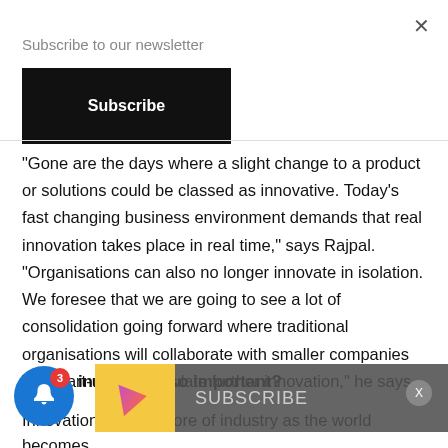Subscribe to our newsletter
Subscribe
"Gone are the days where a slight change to a product or solutions could be classed as innovative. Today's fast changing business environment demands that real innovation takes place in real time," says Rajpal. "Organisations can also no longer innovate in isolation. We foresee that we are going to see a lot of consolidation going forward where traditional organisations will collaborate with smaller companies and start-ups to stimulate further innovation," he says.
Why innovation so important?
Innovation is at the core of industry as the world becomes